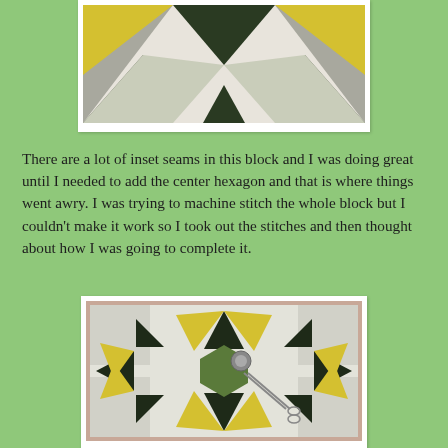[Figure (photo): Top portion of a quilt block in progress showing dark green, yellow, and gray/white fabric pieces arranged in a geometric star pattern, viewed from above on a white surface.]
There are a lot of inset seams in this block and I was doing great until I needed to add the center hexagon and that is where things went awry. I was trying to machine stitch the whole block but I couldn't make it work so I took out the stitches and then thought about how I was going to complete it.
[Figure (photo): A quilt block showing a star pattern made with yellow, dark green/black, and white spotted fabric pieces. A green hexagon center piece is being added, with a small round thread spool and scissors visible on the block.]